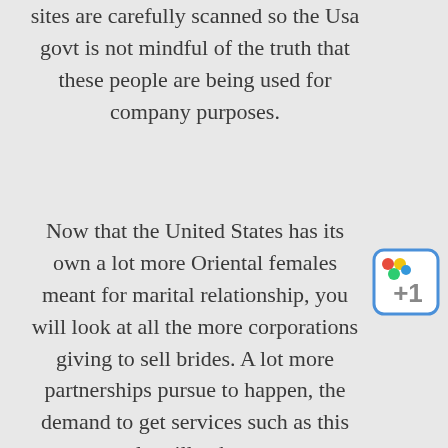sites are carefully scanned so the Usa govt is not mindful of the truth that these people are being used for company purposes.
Now that the United States has its own a lot more Oriental females meant for marital relationship, you will look at all the more corporations giving to sell brides. A lot more partnerships pursue to happen, the demand to get services such as this only will enhance.
[Figure (logo): Google +1 badge button with colored flag icon and +1 text]
A number of the men who employ these kind of expertise include things like those who have recently been divorced and still have youngsters they have no time in order to maintain. The separation and divorce or splitting up provides triggered